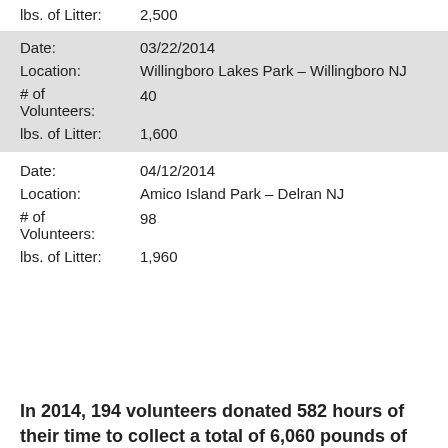lbs. of Litter: 2,500
| Date: | 03/22/2014 |
| Location: | Willingboro Lakes Park – Willingboro NJ |
| # of Volunteers: | 40 |
| lbs. of Litter: | 1,600 |
| Date: | 04/12/2014 |
| Location: | Amico Island Park – Delran NJ |
| # of Volunteers: | 98 |
| lbs. of Litter: | 1,960 |
In 2014, 194 volunteers donated 582 hours of their time to collect a total of 6,060 pounds of